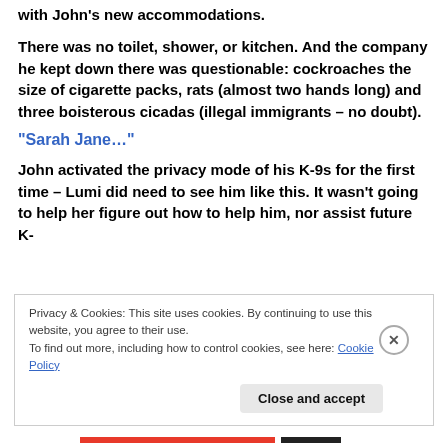with John's new accommodations.
There was no toilet, shower, or kitchen. And the company he kept down there was questionable: cockroaches the size of cigarette packs, rats (almost two hands long) and three boisterous cicadas (illegal immigrants – no doubt).
"Sarah Jane…"
John activated the privacy mode of his K-9s for the first time – Lumi did need to see him like this. It wasn't going to help her figure out how to help him, nor assist future K-
Privacy & Cookies: This site uses cookies. By continuing to use this website, you agree to their use.
To find out more, including how to control cookies, see here: Cookie Policy
Close and accept